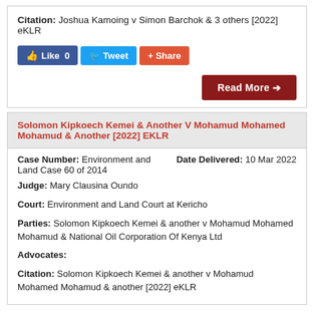Citation: Joshua Kamoing v Simon Barchok & 3 others [2022] eKLR
Like 0  Tweet  Share
Read More →
Solomon Kipkoech Kemei & Another V Mohamud Mohamed Mohamud & Another [2022] EKLR
Case Number: Environment and Land Case 60 of 2014
Date Delivered: 10 Mar 2022
Judge: Mary Clausina Oundo
Court: Environment and Land Court at Kericho
Parties: Solomon Kipkoech Kemei & another v Mohamud Mohamed Mohamud & National Oil Corporation Of Kenya Ltd
Advocates:
Citation: Solomon Kipkoech Kemei & another v Mohamud Mohamed Mohamud & another [2022] eKLR